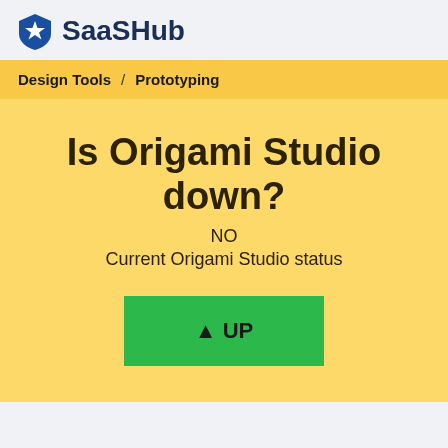SaaSHub
Design Tools / Prototyping
Is Origami Studio down?
NO
Current Origami Studio status
[Figure (other): Green UP status button with upward arrow icon and text 'UP']